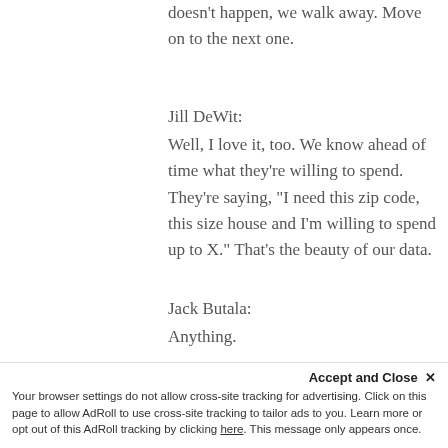doesn’t happen, we walk away. Move on to the next one.
Jill DeWit:
Well, I love it, too. We know ahead of time what they’re willing to spend. They’re saying, “I need this zip code, this size house and I’m willing to spend up to X.” That’s the beauty of our data.
Jack Butala:
Anything.
Jill DeWit:
People don’t believe me…
Accept and Close ×
Your browser settings do not allow cross-site tracking for advertising. Click on this page to allow AdRoll to use cross-site tracking to tailor ads to you. Learn more or opt out of this AdRoll tracking by clicking here. This message only appears once.